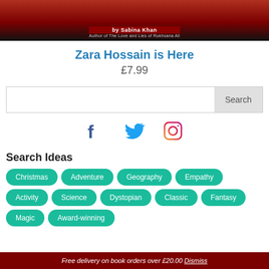[Figure (photo): Book cover image for 'Zara Hossain is Here' showing red and dark background with title text overlay]
Zara Hossain is Here
£7.99
[Figure (other): Search bar with text input field and Search button]
[Figure (other): Social media icons: Facebook, Twitter, Instagram]
Search Ideas
Christmas
Adventure
Geography
Empathy
Activity
Science
Dystopian
Classic
Fantasy
Magic
Award-winning
Free delivery on book orders over £20.00 Dismiss